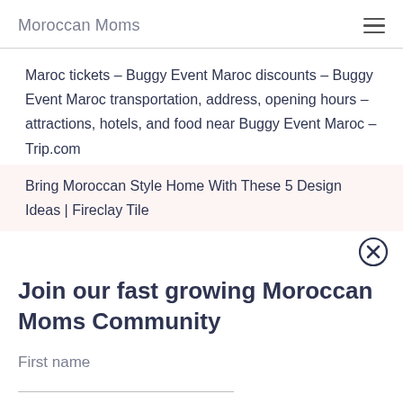Moroccan Moms
Maroc tickets – Buggy Event Maroc discounts – Buggy Event Maroc transportation, address, opening hours – attractions, hotels, and food near Buggy Event Maroc – Trip.com
Bring Moroccan Style Home With These 5 Design Ideas | Fireclay Tile
Join our fast growing Moroccan Moms Community
First name